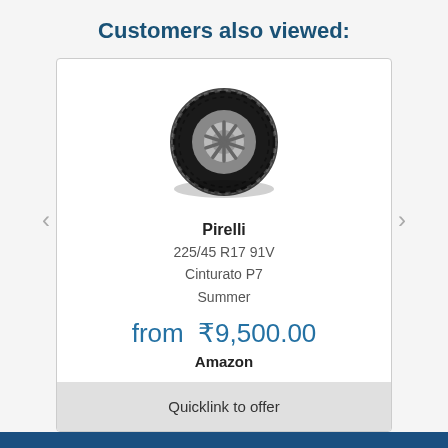Customers also viewed:
[Figure (illustration): Product card showing a Pirelli tire image (225/45 R17 91V Cinturato P7 Summer) with price from ₹9,500.00 on Amazon and a Quicklink to offer button. Navigation arrows on left and right.]
Pirelli
225/45 R17 91V
Cinturato P7
Summer
from  ₹9,500.00
Amazon
Quicklink to offer